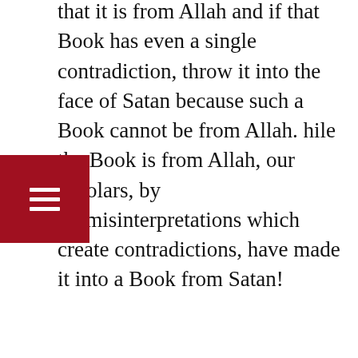that it is from Allah and if that Book has even a single contradiction, throw it into the face of Satan because such a Book cannot be from Allah. While the Book is from Allah, our scholars, by their misinterpretations which create contradictions, have made it into a Book from Satan!
The Quran is a simple Book, easy to understand and without crookedness. All that is required is that we take its straight forward literal meaning. It is scholarship that puts a spin on every verse and misinterprets which is why the hadith which says that the scholars will be among the foremost who will be flung into Hell sounds true. The scholars put their spin because they misunderstand the